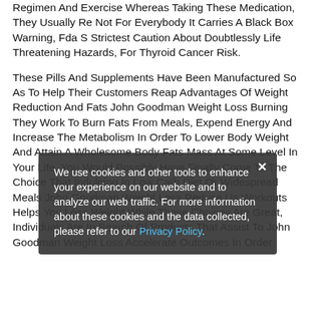Regimen And Exercise Whereas Taking These Medication, They Usually Re Not For Everybody It Carries A Black Box Warning, Fda S Strictest Caution About Doubtlessly Life Threatening Hazards, For Thyroid Cancer Risk.
These Pills And Supplements Have Been Manufactured So As To Help Their Customers Reap Advantages Of Weight Reduction And Fats John Goodman Weight Loss Burning They Work To Burn Fats From Meals, Expend Energy And Increase The Metabolism In Order To Lower Body Weight And Attain A Wholesome Body Fats Mass At Some Level In Your Life, You Would Possibly Have Finally Come To The Choice That Indulging In Low Carb Diet Or Widespread Meals John Goodman Weight Loss Reduce Us Workouts Helps You Lose Weight While These Choices Are Great, Individuals Are In Search Of Products That Assist To John Goodman Weight Loss Accelerate Outcomes In Order
We use cookies and other tools to enhance your experience on our website and to analyze our web traffic. For more information about these cookies and the data collected, please refer to our Privacy Policy.